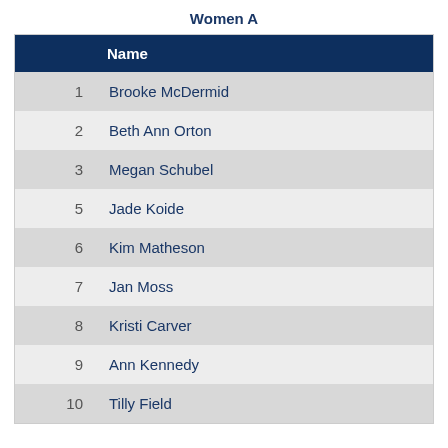Women A
|  | Name |
| --- | --- |
| 1 | Brooke McDermid |
| 2 | Beth Ann Orton |
| 3 | Megan Schubel |
| 5 | Jade Koide |
| 6 | Kim Matheson |
| 7 | Jan Moss |
| 8 | Kristi Carver |
| 9 | Ann Kennedy |
| 10 | Tilly Field |